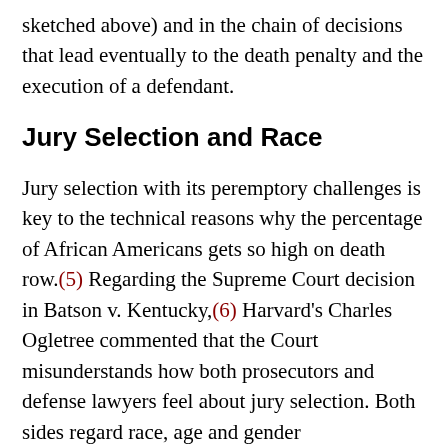sketched above) and in the chain of decisions that lead eventually to the death penalty and the execution of a defendant.
Jury Selection and Race
Jury selection with its peremptory challenges is key to the technical reasons why the percentage of African Americans gets so high on death row.(5) Regarding the Supreme Court decision in Batson v. Kentucky,(6) Harvard's Charles Ogletree commented that the Court misunderstands how both prosecutors and defense lawyers feel about jury selection. Both sides regard race, age and gender discrimination as “rational, ethical and necessary strategies to protect the interest of their clients.”(7)
I disagree with Ogletree on how much the Court respects and fears the power of the American legal system to defend the traditions of jury selection. If